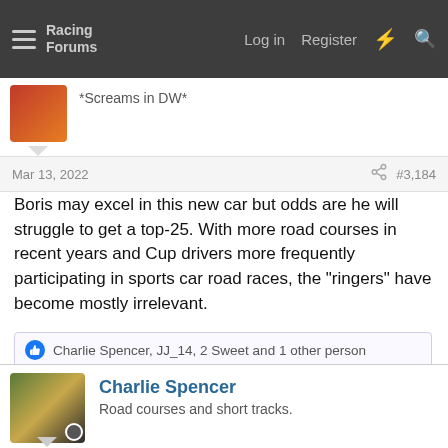Racing Forums — Log in  Register
*Screams in DW*
Mar 13, 2022  #3,184
Boris may excel in this new car but odds are he will struggle to get a top-25. With more road courses in recent years and Cup drivers more frequently participating in sports car road races, the "ringers" have become mostly irrelevant.
Charlie Spencer, JJ_14, 2 Sweet and 1 other person
Charlie Spencer
Road courses and short tracks.
Apr 25, 2022  #3,185
wi_racefan said:
Floyd Mayweather Jr. launches The Money Team Racing; Kaz Grala